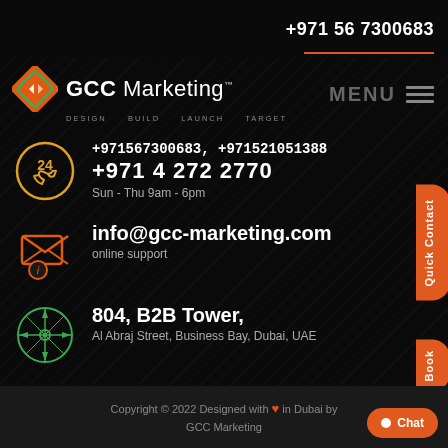+971 56 7300683
[Figure (logo): GCC Marketing logo with orange diamond shape icon and company name]
MENU
+971567300683, +971521051388 +971 4 272 2770 Sun - Thu 9am - 6pm
info@gcc-marketing.com online support
804, B2B Tower, Al Abraj Street, Business Bay, Dubai, UAE
Copyright © 2022 Designed with ❤ in Dubai by GCC Marketing